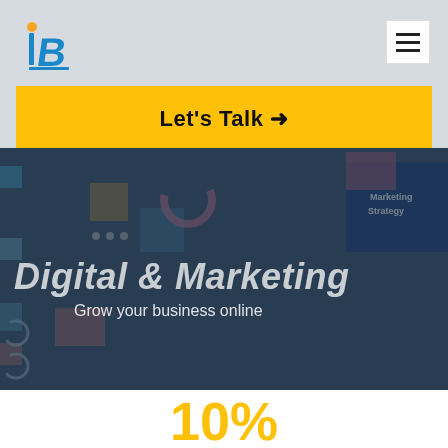[Figure (logo): IB logo with orange dot and blue/teal letter B]
[Figure (other): Hamburger menu icon, white square button with three horizontal lines]
Let's Talk →
[Figure (photo): Dark-toned hero image of a person pointing at a marketing strategy board with sticky notes and charts]
Digital & Marketing
Grow your business online
10%